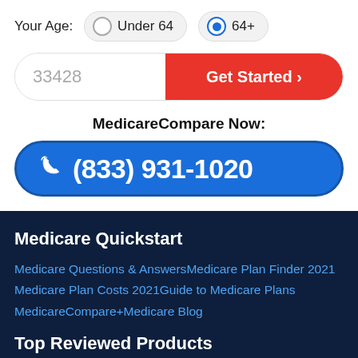Your Age:  Under 64  64+
33428
Get Started >
MedicareCompare Now:
(833) 931-1020
Medicare Quickstart
Medicare Questions & Answers
Medicare Plan Finder 2021
Medicare Plan Costs 2021
Guide to Medicare Plans
MedicareCompare+Medicare Blog
Top Reviewed Products